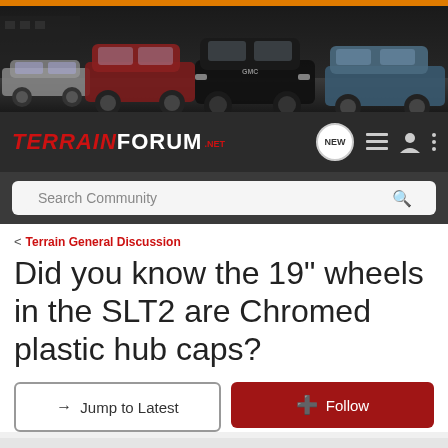[Figure (photo): Banner image of multiple GMC and Chevrolet SUV vehicles parked in a dark setting, with an orange strip at the top]
[Figure (logo): TerrainForum.net logo in red and white on dark navbar, with NEW chat bubble, menu icon, user icon, and more options icon]
Search Community
< Terrain General Discussion
Did you know the 19" wheels in the SLT2 are Chromed plastic hub caps?
→ Jump to Latest
+ Follow